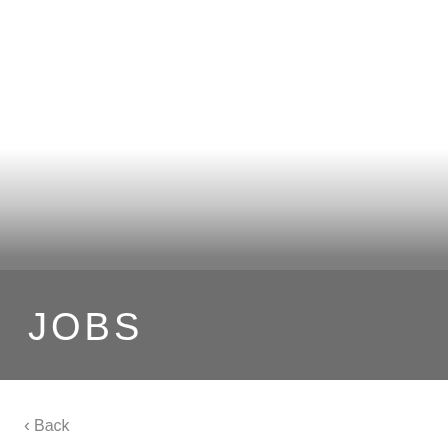[Figure (illustration): A gradient band transitioning from white at the top through light grey to medium grey, creating a photographic-style horizon effect covering the upper portion of the page.]
JOBS
< Back